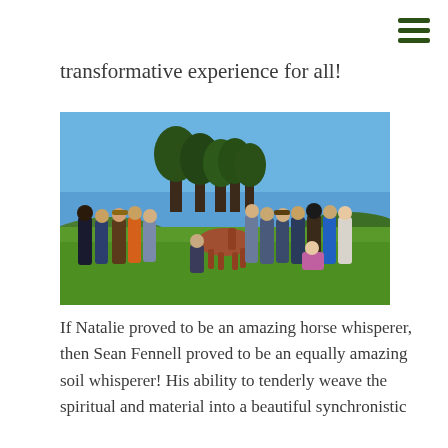transformative experience for all!
[Figure (photo): Group of people standing in a green grassy field with rolling hills and trees in the background, gathered around a brown horse. A sunny day with blue sky. Appears to be an outdoor educational or experiential event.]
If Natalie proved to be an amazing horse whisperer, then Sean Fennell proved to be an equally amazing soil whisperer! His ability to tenderly weave the spiritual and material into a beautiful synchronistic